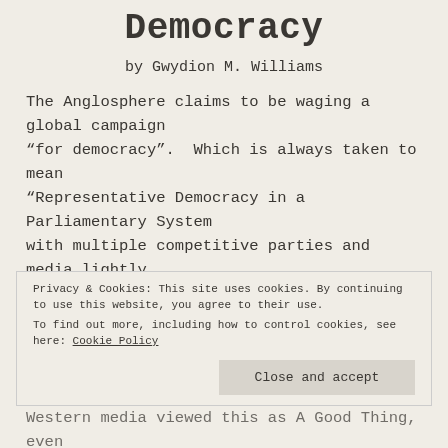Democracy
by Gwydion M. Williams
The Anglosphere claims to be waging a global campaign “for democracy”.  Which is always taken to mean “Representative Democracy in a Parliamentary System with multiple competitive parties and media lightly regulated and independent of the state”.
Privacy & Cookies: This site uses cookies. By continuing to use this website, you agree to their use.
To find out more, including how to control cookies, see here: Cookie Policy
Western media viewed this as A Good Thing, even